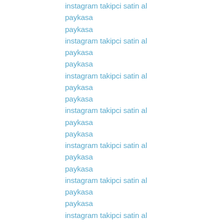instagram takipci satin al
paykasa
paykasa
instagram takipci satin al
paykasa
paykasa
instagram takipci satin al
paykasa
paykasa
instagram takipci satin al
paykasa
paykasa
instagram takipci satin al
paykasa
paykasa
instagram takipci satin al
paykasa
paykasa
instagram takipci satin al
paykasa
paykasa
instagram takipci satin al
paykasa